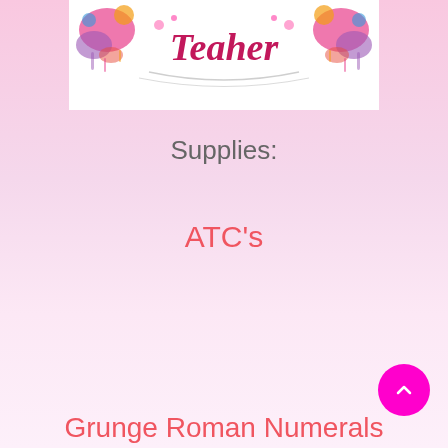[Figure (logo): Decorative banner/logo with script text 'Tepher' or similar, colorful paint splashes and floral decorations on white background]
Supplies:
ATC's
Grunge Roman Numerals